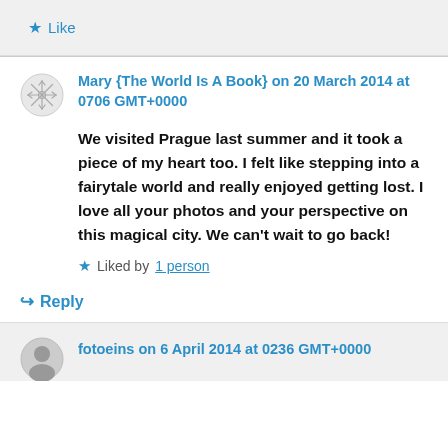★ Like
Mary {The World Is A Book} on 20 March 2014 at 0706 GMT+0000
We visited Prague last summer and it took a piece of my heart too. I felt like stepping into a fairytale world and really enjoyed getting lost. I love all your photos and your perspective on this magical city. We can't wait to go back!
Liked by 1 person
↳ Reply
fotoeins on 6 April 2014 at 0236 GMT+0000